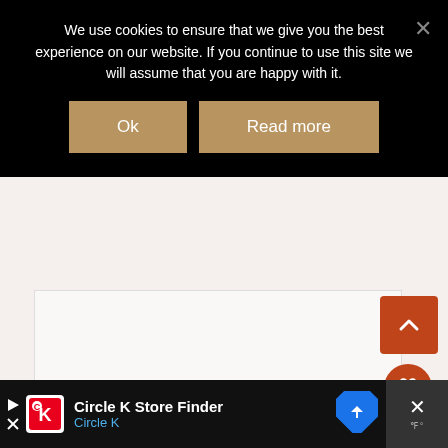We use cookies to ensure that we give you the best experience on our website. If you continue to use this site we will assume that you are happy with it.
[Figure (screenshot): Cookie consent overlay with Ok and Read more buttons on black background, with a close X button]
[Figure (screenshot): Website UI showing scroll-to-top orange button with chevron up, orange heart/favorite circle button, and white share circle button with share icon]
[Figure (screenshot): What's Next panel with orange label, arrow icon, credit card thumbnail image, and text 'Add Some Relief This...']
[Figure (screenshot): Bottom advertisement bar for Circle K Store Finder with Circle K logo, blue map direction icon, and close X button with temperature icon]